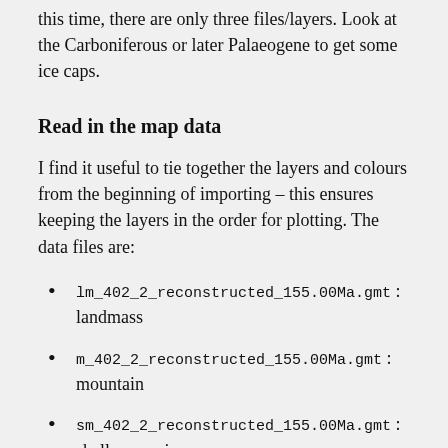this time, there are only three files/layers. Look at the Carboniferous or later Palaeogene to get some ice caps.
Read in the map data
I find it useful to tie together the layers and colours from the beginning of importing – this ensures keeping the layers in the order for plotting. The data files are:
lm_402_2_reconstructed_155.00Ma.gmt : landmass
m_402_2_reconstructed_155.00Ma.gmt : mountain
sm_402_2_reconstructed_155.00Ma.gmt : shallow marine
This short code snippet sets lists the layer names and assigns the colours for each layer on the map – they are similar to those shown in GPlates, but not quite